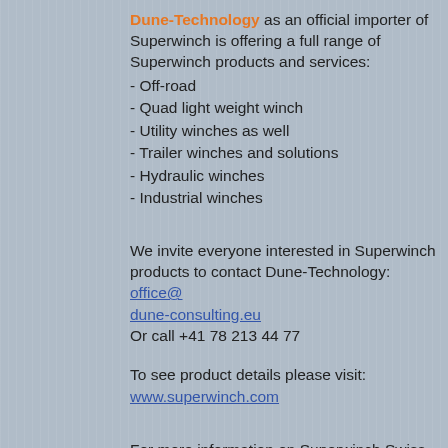Dune-Technology as an official importer of Superwinch is offering a full range of Superwinch products and services:
- Off-road
- Quad light weight winch
- Utility winches as well
- Trailer winches and solutions
- Hydraulic winches
- Industrial winches
We invite everyone interested in Superwinch products to contact Dune-Technology: office@dune-consulting.eu Or call +41 78 213 44 77
To see product details please visit: www.superwinch.com
For more information on Superwinch Swiss distributor program please contact Dune-Technology: office@dune-consulting.eu